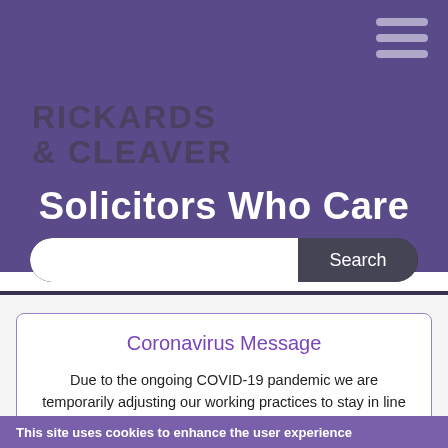[Figure (logo): Rickards & Cleaver law firm logo on purple background with hamburger menu icon]
Solicitors Who Care
Coronavirus Message
Due to the ongoing COVID-19 pandemic we are temporarily adjusting our working practices to stay in line with the current guidelines from the British Government on
This site uses cookies to enhance the user experience